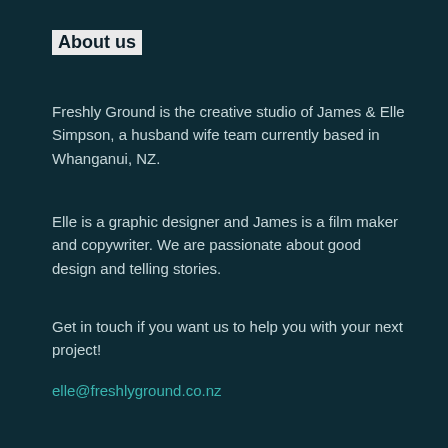About us
Freshly Ground is the creative studio of James & Elle Simpson, a husband wife team currently based in Whanganui, NZ.
Elle is a graphic designer and James is a film maker and copywriter. We are passionate about good design and telling stories.
Get in touch if you want us to help you with your next project!
elle@freshlyground.co.nz
Services
GRAPHIC DESIGN
Logo design